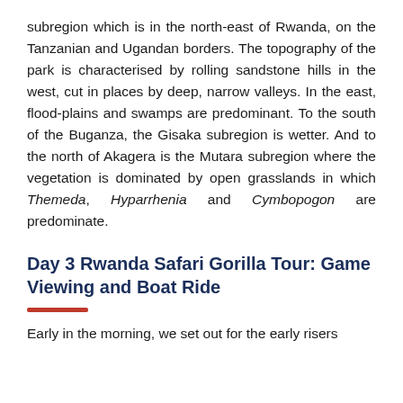subregion which is in the north-east of Rwanda, on the Tanzanian and Ugandan borders. The topography of the park is characterised by rolling sandstone hills in the west, cut in places by deep, narrow valleys. In the east, flood-plains and swamps are predominant. To the south of the Buganza, the Gisaka subregion is wetter. And to the north of Akagera is the Mutara subregion where the vegetation is dominated by open grasslands in which Themeda, Hyparrhenia and Cymbopogon are predominate.
Day 3 Rwanda Safari Gorilla Tour: Game Viewing and Boat Ride
Early in the morning, we set out for the early risers